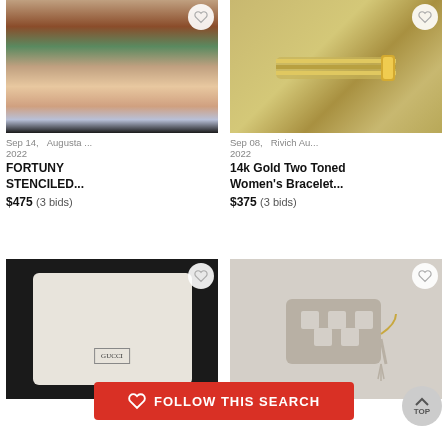[Figure (photo): FORTUNY STENCILED item product photo showing layered paper/fabric with earth tones]
Sep 14, 2022    Augusta ...
FORTUNY STENCILED...
$475 (3 bids)
[Figure (photo): 14k Gold Two Toned Women's Bracelet product photo showing gold mesh bracelet on grey background]
Sep 08, 2022    Rivich Au...
14k Gold Two Toned Women's Bracelet...
$375 (3 bids)
[Figure (photo): Gucci bag product photo showing white/cream crossbody bag with Gucci dust bag on black background]
[Figure (photo): Small taupe crossbody bag with geometric cutout pattern and tassel, on chain strap]
FOLLOW THIS SEARCH